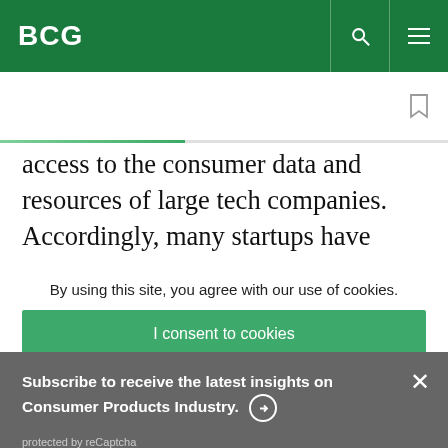BCG
access to the consumer data and resources of large tech companies. Accordingly, many startups have
Subscribe to receive the latest insights on Consumer Products Industry.
protected by reCaptcha
By using this site, you agree with our use of cookies.
I consent to cookies
Want to know more?
Read our Cookie Policy